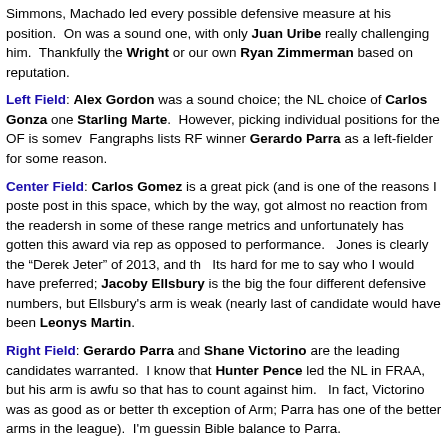Simmons, Machado led every possible defensive measure at his position.  On was a sound one, with only Juan Uribe really challenging him.  Thankfully the Wright or our own Ryan Zimmerman based on reputation.
Left Field: Alex Gordon was a sound choice; the NL choice of Carlos Gonza one Starling Marte.  However, picking individual positions for the OF is somev Fangraphs lists RF winner Gerardo Parra as a left-fielder for some reason.
Center Field: Carlos Gomez is a great pick (and is one of the reasons I poste post in this space, which by the way, got almost no reaction from the readersh in some of these range metrics and unfortunately has gotten this award via rep as opposed to performance.   Jones is clearly the “Derek Jeter” of 2013, and th  Its hard for me to say who I would have preferred; Jacoby Ellsbury is the big the four different defensive numbers, but Ellsbury's arm is weak (nearly last of candidate would have been Leonys Martin.
Right Field: Gerardo Parra and Shane Victorino are the leading candidates warranted.  I know that Hunter Pence led the NL in FRAA, but his arm is awfu so that has to count against him.   In fact, Victorino was as good as or better th exception of Arm; Parra has one of the better arms in the league).  I'm guessin Bible balance to Parra.
—
Conclusion: I think the Gold Gloves did a pretty good job in 2013 of identifyin position.  With one significant exception (Adam Jones).  I think its time the sh